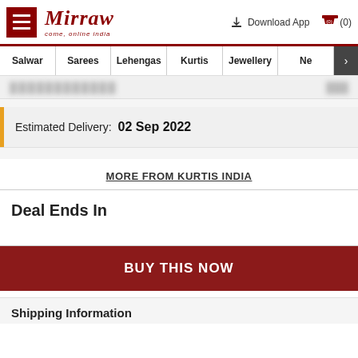Mirraw - come, online india
Salwar | Sarees | Lehengas | Kurtis | Jewellery | Ne
Estimated Delivery: 02 Sep 2022
MORE FROM KURTIS INDIA
Deal Ends In
BUY THIS NOW
Shipping Information